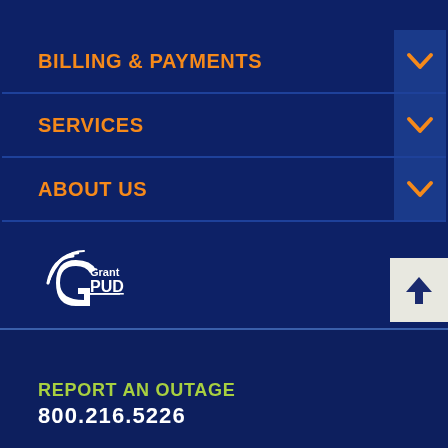BILLING & PAYMENTS
SERVICES
ABOUT US
[Figure (logo): Grant PUD logo with stylized G icon and text 'Grant PUD' with underline]
REPORT AN OUTAGE
800.216.5226